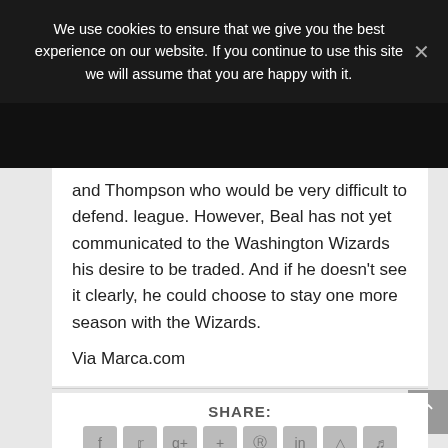We use cookies to ensure that we give you the best experience on our website. If you continue to use this site we will assume that you are happy with it.
and Thompson who would be very difficult to defend. league. However, Beal has not yet communicated to the Washington Wizards his desire to be traded. And if he doesn't see it clearly, he could choose to stay one more season with the Wizards.
Via Marca.com
SHARE: